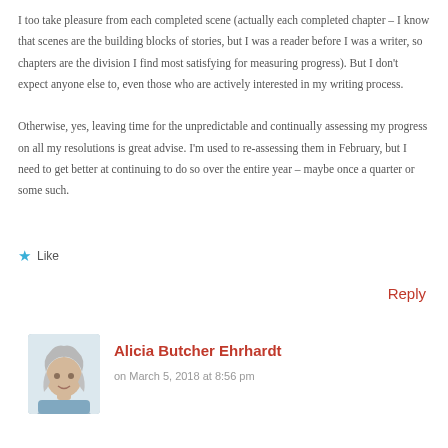I too take pleasure from each completed scene (actually each completed chapter – I know that scenes are the building blocks of stories, but I was a reader before I was a writer, so chapters are the division I find most satisfying for measuring progress). But I don't expect anyone else to, even those who are actively interested in my writing process.

Otherwise, yes, leaving time for the unpredictable and continually assessing my progress on all my resolutions is great advise. I'm used to re-assessing them in February, but I need to get better at continuing to do so over the entire year – maybe once a quarter or some such.
Like
Reply
[Figure (photo): Profile photo of a woman with gray/silver hair, older, light complexion, against a light background]
Alicia Butcher Ehrhardt
on March 5, 2018 at 8:56 pm